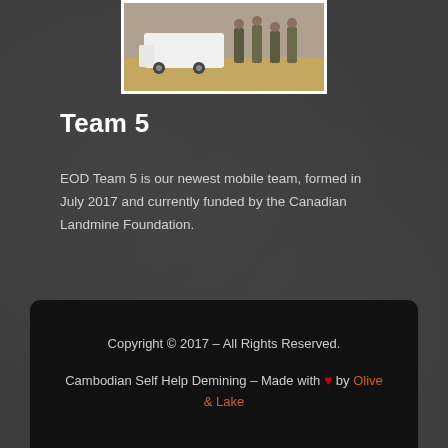[Figure (photo): Group photo of EOD Team 5 members standing in front of a white vehicle in an outdoor setting]
Team 5
EOD Team 5 is our newest mobile team, formed in July 2017 and currently funded by the Canadian Landmine Foundation.
[Figure (logo): Facebook social media button — blue circle with white 'f' logo]
Copyright © 2017 – All Rights Reserved. Cambodian Self Help Demining – Made with ♥ by Olive & Lake